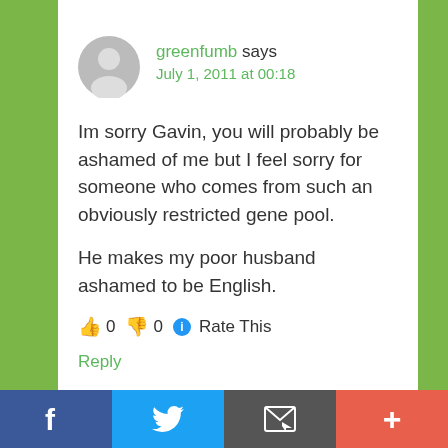greenfumb says
July 1, 2011 at 00:18
Im sorry Gavin, you will probably be ashamed of me but I feel sorry for someone who comes from such an obviously restricted gene pool.

He makes my poor husband ashamed to be English.
👍 0 👎 0 ℹ Rate This
Reply